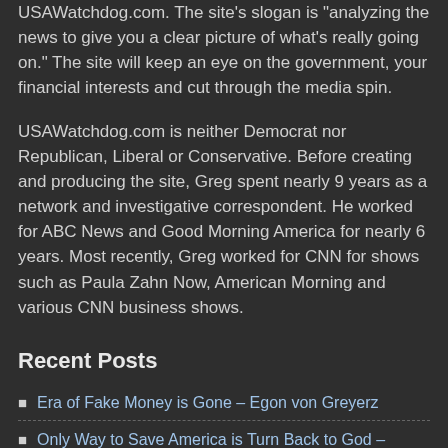USAWatchdog.com. The site's slogan is "analyzing the news to give you a clear picture of what's really going on." The site will keep an eye on the government, your financial interests and cut through the media spin.
USAWatchdog.com is neither Democrat nor Republican, Liberal or Conservative. Before creating and producing the site, Greg spent nearly 9 years as a network and investigative correspondent. He worked for ABC News and Good Morning America for nearly 6 years. Most recently, Greg worked for CNN for shows such as Paula Zahn Now, American Morning and various CNN business shows.
Recent Posts
Era of Fake Money is Gone – Egon von Greyerz
Only Way to Save America is Turn Back to God – Jonathan Cahn
Framing Trump Again, Tsunami of Vax Lies, Tanking